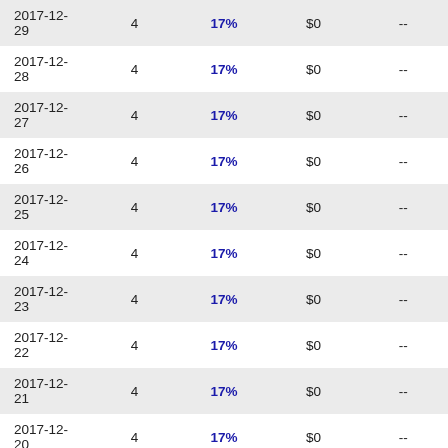| 2017-12-29 | 4 | 17% | $0 | -- |
| 2017-12-28 | 4 | 17% | $0 | -- |
| 2017-12-27 | 4 | 17% | $0 | -- |
| 2017-12-26 | 4 | 17% | $0 | -- |
| 2017-12-25 | 4 | 17% | $0 | -- |
| 2017-12-24 | 4 | 17% | $0 | -- |
| 2017-12-23 | 4 | 17% | $0 | -- |
| 2017-12-22 | 4 | 17% | $0 | -- |
| 2017-12-21 | 4 | 17% | $0 | -- |
| 2017-12-20 | 4 | 17% | $0 | -- |
| 2017-12-19 | 4 | 17% | $0 | -- |
| 2017-12-18 | 4 | 17% | $0 | -- |
| 2017-12-17 | 4 | 17% | $0 | -- |
| 2017-12-16 | 4 | 17% | $0 | -- |
| 2017-12-15 | 4 | 17% | $0 | -- |
| 2017-12-14 | 4 | 17% | $0 | -- |